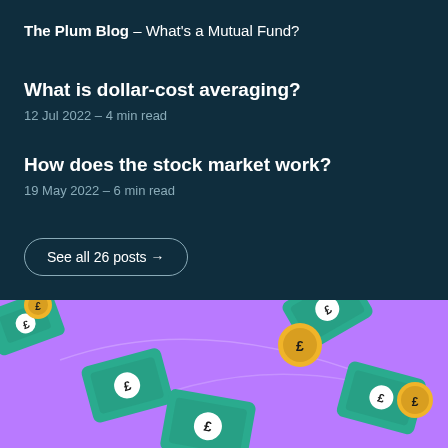The Plum Blog – What's a Mutual Fund?
What is dollar-cost averaging?
12 Jul 2022 – 4 min read
How does the stock market work?
19 May 2022 – 6 min read
See all 26 posts →
[Figure (illustration): Purple background illustration with cartoon pound sterling banknotes (green rectangles) and gold coins with pound sign, scattered at various angles]